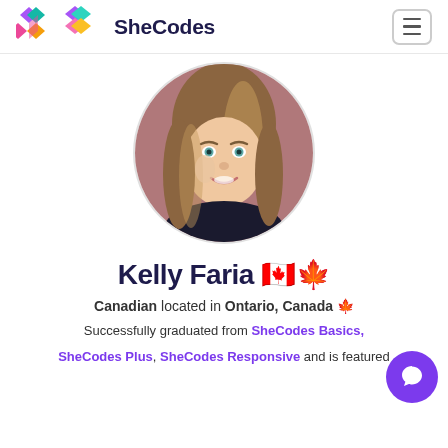SheCodes
[Figure (photo): Circular profile photo of Kelly Faria — a young woman with long brown/blonde hair, blue-green eyes, smiling, wearing a black top, with a pinkish-brick background.]
Kelly Faria 🇨🇦🍁
Canadian located in Ontario, Canada 🍁
Successfully graduated from SheCodes Basics, SheCodes Plus, SheCodes Responsive and is featured